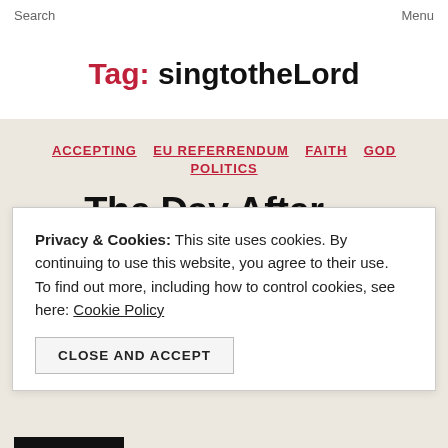Search    Menu
Tag: singtotheLord
ACCEPTING   EU REFERRENDUM   FAITH   GOD   POLITICS
The Day After ...
Privacy & Cookies: This site uses cookies. By continuing to use this website, you agree to their use.
To find out more, including how to control cookies, see here: Cookie Policy
CLOSE AND ACCEPT
what I am reading. I